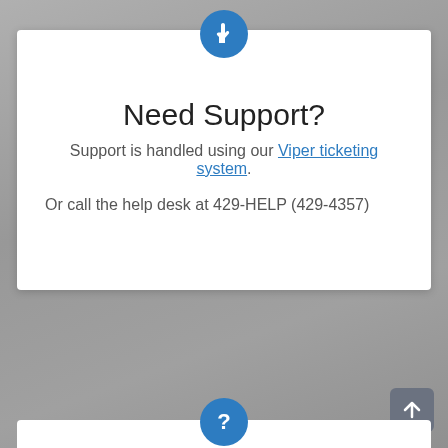[Figure (illustration): Blue circle icon with white pointing hand cursor, positioned at top center of white card]
Need Support?
Support is handled using our Viper ticketing system.
Or call the help desk at 429-HELP (429-4357)
[Figure (illustration): Blue circle icon with white question mark, at bottom center, partially visible]
[Figure (illustration): Gray rounded square button with white upward arrow, bottom right corner]